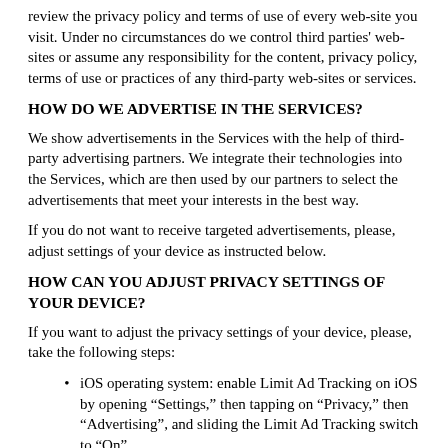review the privacy policy and terms of use of every web-site you visit. Under no circumstances do we control third parties' web-sites or assume any responsibility for the content, privacy policy, terms of use or practices of any third-party web-sites or services.
HOW DO WE ADVERTISE IN THE SERVICES?
We show advertisements in the Services with the help of third-party advertising partners. We integrate their technologies into the Services, which are then used by our partners to select the advertisements that meet your interests in the best way.
If you do not want to receive targeted advertisements, please, adjust settings of your device as instructed below.
HOW CAN YOU ADJUST PRIVACY SETTINGS OF YOUR DEVICE?
If you want to adjust the privacy settings of your device, please, take the following steps:
iOS operating system: enable Limit Ad Tracking on iOS by opening “Settings,” then tapping on “Privacy,” then “Advertising”, and sliding the Limit Ad Tracking switch to “On”.
Android operating system: opt out of Ads